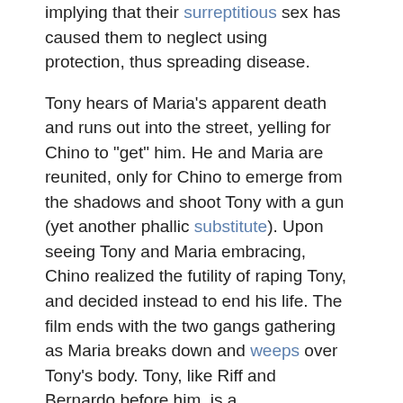implying that their surreptitious sex has caused them to neglect using protection, thus spreading disease.
Tony hears of Maria's apparent death and runs out into the street, yelling for Chino to "get" him. He and Maria are reunited, only for Chino to emerge from the shadows and shoot Tony with a gun (yet another phallic substitute). Upon seeing Tony and Maria embracing, Chino realized the futility of raping Tony, and decided instead to end his life. The film ends with the two gangs gathering as Maria breaks down and weeps over Tony's body. Tony, like Riff and Bernardo before him, is a